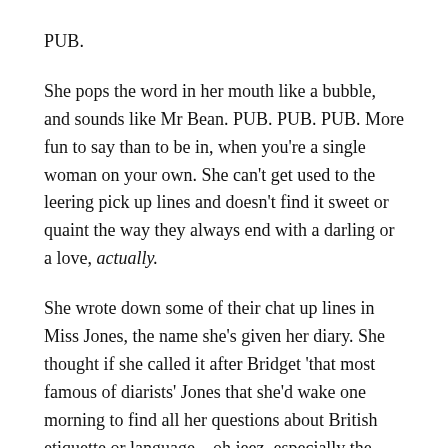PUB.
She pops the word in her mouth like a bubble, and sounds like Mr Bean. PUB. PUB. PUB. More fun to say than to be in, when you're a single woman on your own. She can't get used to the leering pick up lines and doesn't find it sweet or quaint the way they always end with a darling or a love, actually.
She wrote down some of their chat up lines in Miss Jones, the name she's given her diary. She thought if she called it after Bridget 'that most famous of diarists' Jones that she'd wake one morning to find all her questions about British etiquette or language – oh jeez, especially the language!